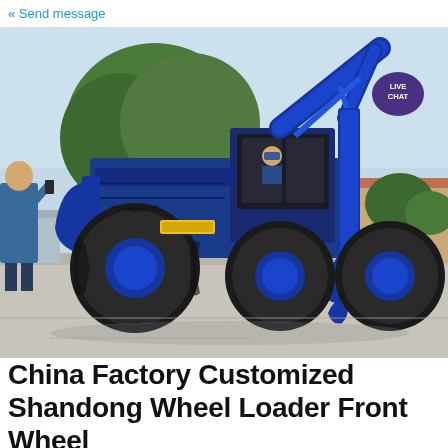« Send message
[Figure (photo): A large blue wheeled loader / sugar cane harvester machine with a hydraulic arm and claw attachment, photographed outdoors on a paved area with trees and buildings in the background. A person in blue stands to the left taking a photo, and an operator is visible in the cab.]
China Factory Customized Shandong Wheel Loader Front Wheel